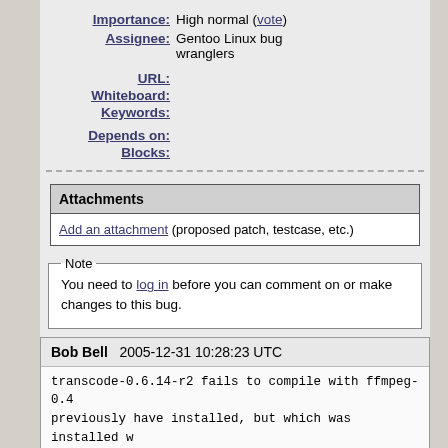Importance: High normal (vote)
Assignee: Gentoo Linux bug wranglers
URL:
Whiteboard:
Keywords:
Depends on:
Blocks:
Attachments
Add an attachment (proposed patch, testcase, etc.)
Note
You need to log in before you can comment on or make changes to this bug.
Bob Bell   2005-12-31 10:28:23 UTC
transcode-0.6.14-r2 fails to compile with ffmpeg-0.4
previously have installed, but which was installed w
transcode). Apparently ffmpeg has changed a data st
transcode should should be updated to reflect that